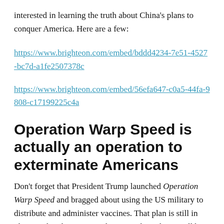interested in learning the truth about China's plans to conquer America. Here are a few:
https://www.brighteon.com/embed/bddd4234-7e51-4527-bc7d-a1fe2507378c
https://www.brighteon.com/embed/56efa647-c0a5-44fa-9808-c17199225c4a
Operation Warp Speed is actually an operation to exterminate Americans
Don't forget that President Trump launched Operation Warp Speed and bragged about using the US military to distribute and administer vaccines. That plan is still in place, and it almost certainly means the military will be invoked to go